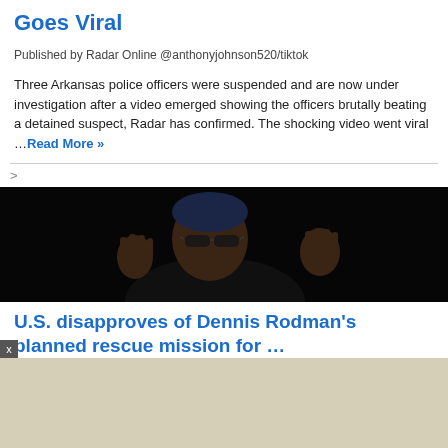Goes Viral
Published by Radar Online @anthonyjohnson520/tiktok Three Arkansas police officers were suspended and are now under investigation after a video emerged showing the officers brutally beating a detained suspect, Radar has confirmed. The shocking video went viral … Read More »
[Figure (photo): Dark photo of a person with blue-tinted hair and sunglasses, appears to be Dennis Rodman gesturing with hands raised]
U.S. disapproves of Dennis Rodman's planned rescue mission for …